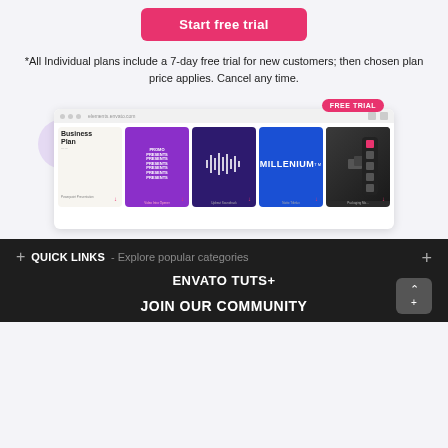Start free trial
*All Individual plans include a 7-day free trial for new customers; then chosen plan price applies. Cancel any time.
[Figure (screenshot): Screenshot of Envato Elements website showing a grid of downloadable content cards including Business Plan presentation, Promo video, Upbeat Soundtrack, Millenium title, and Packaging Mockup, with a FREE TRIAL badge and side toolbar.]
QUICK LINKS - Explore popular categories
ENVATO TUTS+
JOIN OUR COMMUNITY